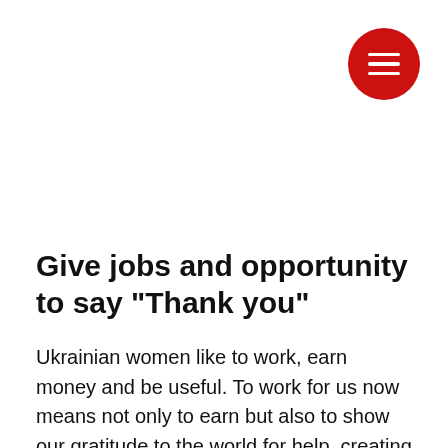[Figure (other): Red circular hamburger menu button with three white horizontal lines, positioned in the top-right corner]
Give jobs and opportunity to say "Thank you"
Ukrainian women like to work, earn money and be useful. To work for us now means not only to earn but also to show our gratitude to the world for help, creating something beautiful.